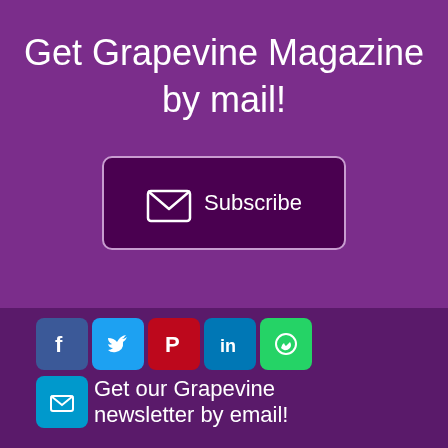Get Grapevine Magazine by mail!
[Figure (infographic): Subscribe button with envelope icon and text 'Subscribe' inside a dark purple rounded rectangle with light purple border]
[Figure (infographic): Social media icons row: Facebook (blue), Twitter (light blue), Pinterest (red), LinkedIn (blue), WhatsApp (green), and email (cyan) icons. Below: text 'Get our Grapevine newsletter by email!']